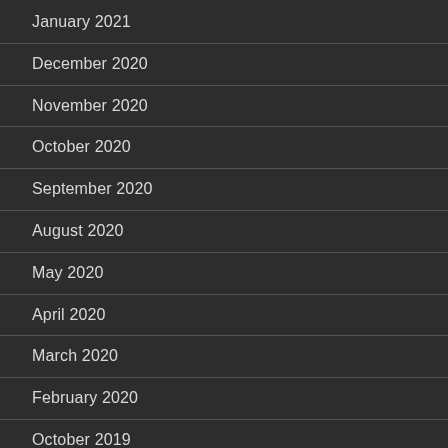January 2021
December 2020
November 2020
October 2020
September 2020
August 2020
May 2020
April 2020
March 2020
February 2020
October 2019